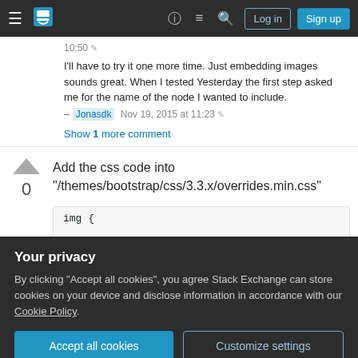Stack Exchange navigation bar with hamburger menu, logo, help, chat, search icons, Log in and Sign up buttons
10:50
I'll have to try it one more time. Just embedding images sounds great. When I tested Yesterday the first step asked me for the name of the node I wanted to include.
– Jonasdk  Nov 19, 2015 at 11:23
Show 1 more comment
Add the css code into "/themes/bootstrap/css/3.3.x/overrides.min.css"
0
img {
Your privacy
By clicking "Accept all cookies", you agree Stack Exchange can store cookies on your device and disclose information in accordance with our Cookie Policy.
Accept all cookies  Customize settings
Improve this answer   Wan Kai Wah